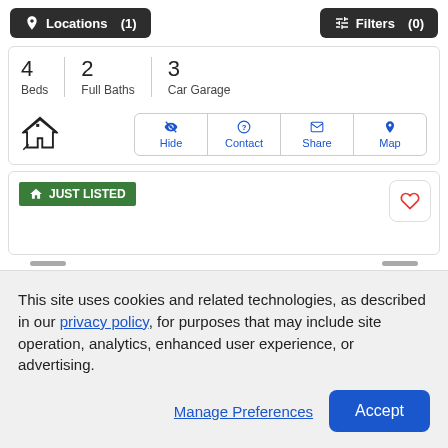[Figure (screenshot): Navigation bar with two dark buttons: 'Locations (1)' with pin icon and 'Filters (0)' with sliders icon]
4 Beds | 2 Full Baths | 3 Car Garage
[Figure (infographic): House icon with action buttons: Hide, Contact, Share, Map]
[Figure (infographic): Just Listed badge card with heart/favorite button]
This site uses cookies and related technologies, as described in our privacy policy, for purposes that may include site operation, analytics, enhanced user experience, or advertising.
Manage Preferences
Accept